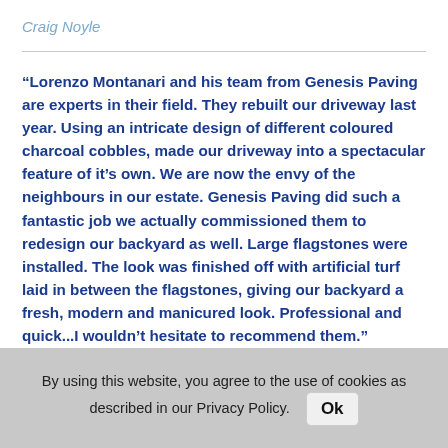Craig Noyle
“Lorenzo Montanari and his team from Genesis Paving are experts in their field. They rebuilt our driveway last year. Using an intricate design of different coloured charcoal cobbles, made our driveway into a spectacular feature of it’s own. We are now the envy of the neighbours in our estate. Genesis Paving did such a fantastic job we actually commissioned them to redesign our backyard as well. Large flagstones were installed. The look was finished off with artificial turf laid in between the flagstones, giving our backyard a fresh, modern and manicured look. Professional and quick...I wouldn’t hesitate to recommend them.”
Rene Lawrence
By using this website, you agree to the use of cookies as described in our Privacy Policy.  Ok